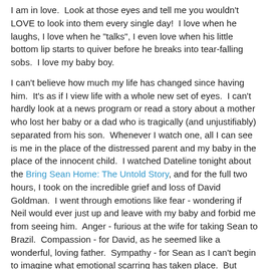I am in love.  Look at those eyes and tell me you wouldn't LOVE to look into them every single day!  I love when he laughs, I love when he "talks", I even love when his little bottom lip starts to quiver before he breaks into tear-falling sobs.  I love my baby boy.
I can't believe how much my life has changed since having him.  It's as if I view life with a whole new set of eyes.  I can't hardly look at a news program or read a story about a mother who lost her baby or a dad who is tragically (and unjustifiably) separated from his son.  Whenever I watch one, all I can see is me in the place of the distressed parent and my baby in the place of the innocent child.  I watched Dateline tonight about the Bring Sean Home: The Untold Story, and for the full two hours, I took on the incredible grief and loss of David Goldman.  I went through emotions like fear - wondering if Neil would ever just up and leave with my baby and forbid me from seeing him.  Anger - furious at the wife for taking Sean to Brazil.  Compassion - for David, as he seemed like a wonderful, loving father.  Sympathy - for Sean as I can't begin to imagine what emotional scarring has taken place.  But most of all, my heart was broken for the father...